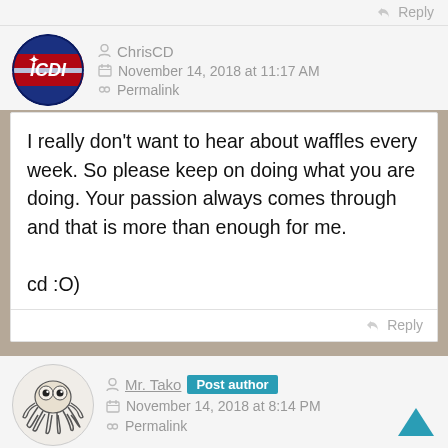Reply
ChrisCD
November 14, 2018 at 11:17 AM
Permalink
I really don't want to hear about waffles every week. So please keep on doing what you are doing. Your passion always comes through and that is more than enough for me.

cd :O)
Reply
Mr. Tako  Post author
November 14, 2018 at 8:14 PM
Permalink